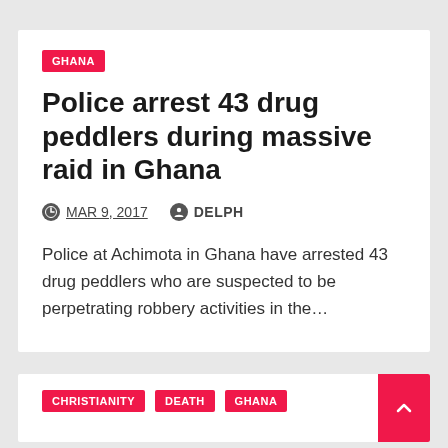GHANA
Police arrest 43 drug peddlers during massive raid in Ghana
MAR 9, 2017   DELPH
Police at Achimota in Ghana have arrested 43 drug peddlers who are suspected to be perpetrating robbery activities in the…
CHRISTIANITY  DEATH  GHANA